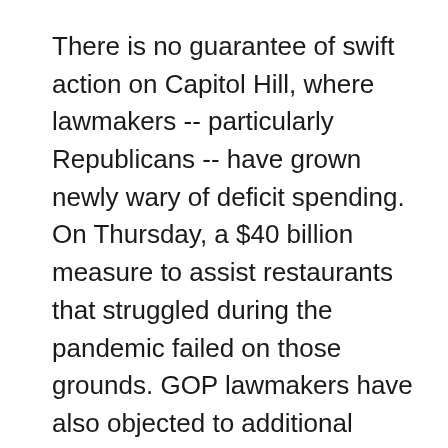There is no guarantee of swift action on Capitol Hill, where lawmakers -- particularly Republicans -- have grown newly wary of deficit spending. On Thursday, a $40 billion measure to assist restaurants that struggled during the pandemic failed on those grounds. GOP lawmakers have also objected to additional funding for the global pandemic response, and called for any new virus response funding to come from unspent economic relief money in the $1.9 trillion rescue plan.
The administration is preparing to lay the blame on lawmakers if there are tough consequences this fall due to lack of money. Still, it could be perilous for Biden, who has struggled to fulfill